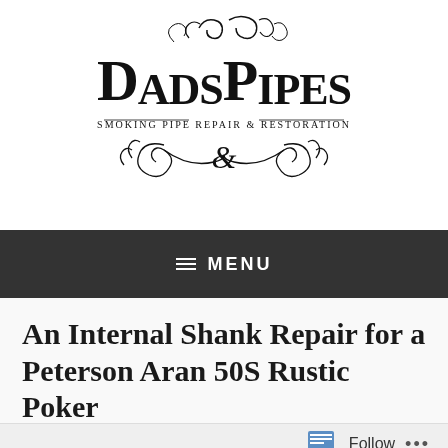[Figure (logo): DadsPipes logo with decorative script, subtitle 'Smoking Pipe Repair & Restoration', ornamental flourishes]
≡ MENU
An Internal Shank Repair for a Peterson Aran 50S Rustic Poker
March 23, 2018   Charles Lemon